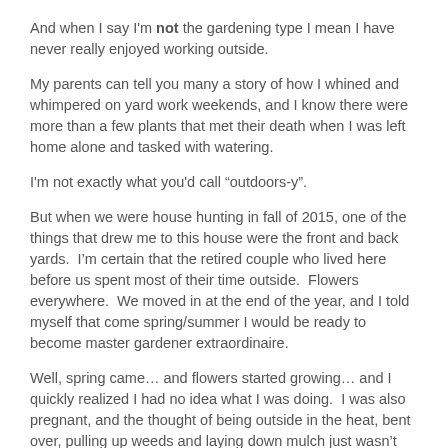And when I say I'm not the gardening type I mean I have never really enjoyed working outside.
My parents can tell you many a story of how I whined and whimpered on yard work weekends, and I know there were more than a few plants that met their death when I was left home alone and tasked with watering.
I'm not exactly what you'd call “outdoors-y”.
But when we were house hunting in fall of 2015, one of the things that drew me to this house were the front and back yards.  I’m certain that the retired couple who lived here before us spent most of their time outside.  Flowers everywhere.  We moved in at the end of the year, and I told myself that come spring/summer I would be ready to become master gardener extraordinaire.
Well, spring came… and flowers started growing… and I quickly realized I had no idea what I was doing.  I was also pregnant, and the thought of being outside in the heat, bent over, pulling up weeds and laying down mulch just wasn’t high on the priority list.